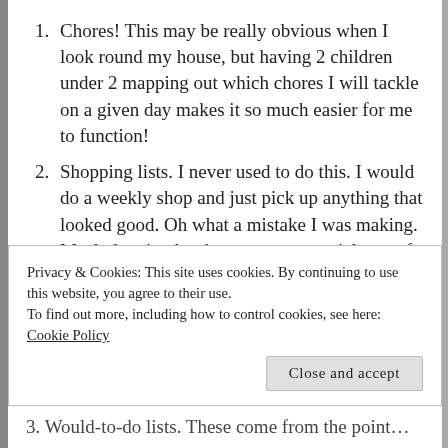Chores! This may be really obvious when I look round my house, but having 2 children under 2 mapping out which chores I will tackle on a given day makes it so much easier for me to function!
Shopping lists. I never used to do this. I would do a weekly shop and just pick up anything that looked good. Oh what a mistake I was making. Meal planning has become an essential part of my planning for the following week and I wrote a shopping list on the basis of my meal plan. I still need to get better at checking my…
Privacy & Cookies: This site uses cookies. By continuing to use this website, you agree to their use.
To find out more, including how to control cookies, see here: Cookie Policy
Close and accept
3. Would-to-do lists. These come from the point…